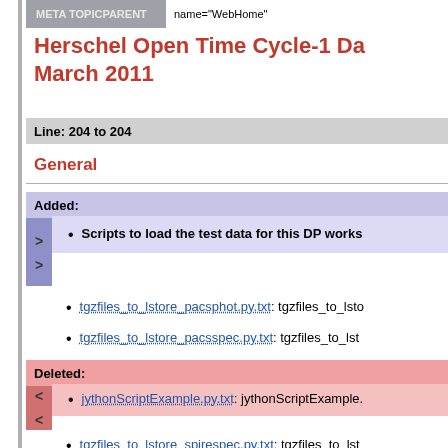META TOPICPARENT  name="WebHome"
Herschel Open Time Cycle-1 Da... March 2011
Line: 204 to 204
General
Added:
Scripts to load the test data for this DP works...
tgzfiles_to_lstore_pacsphot.py.txt: tgzfiles_to_lsto...
tgzfiles_to_lstore_pacsspec.py.txt: tgzfiles_to_lst...
tgzfiles_to_lstore_spirephot.py.txt: tgzfiles_to_lst...
Deleted:
jythonScriptExample.py.txt: jythonScriptExample....
tgzfiles_to_lstore_spirespec.py.txt: tgzfiles_to_lst...